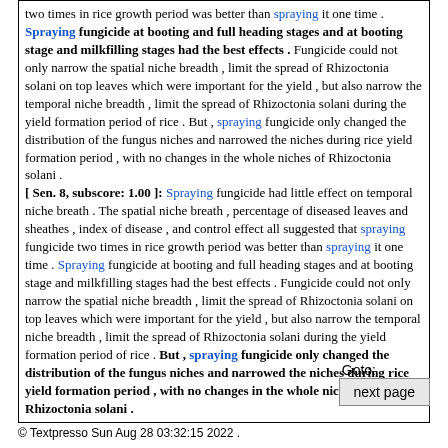two times in rice growth period was better than spraying it one time . Spraying fungicide at booting and full heading stages and at booting stage and milkfilling stages had the best effects . Fungicide could not only narrow the spatial niche breadth , limit the spread of Rhizoctonia solani on top leaves which were important for the yield , but also narrow the temporal niche breadth , limit the spread of Rhizoctonia solani during the yield formation period of rice . But , spraying fungicide only changed the distribution of the fungus niches and narrowed the niches during rice yield formation period , with no changes in the whole niches of Rhizoctonia solani .
[ Sen. 8, subscore: 1.00 ]: Spraying fungicide had little effect on temporal niche breath . The spatial niche breath , percentage of diseased leaves and sheathes , index of disease , and control effect all suggested that spraying fungicide two times in rice growth period was better than spraying it one time . Spraying fungicide at booting and full heading stages and at booting stage and milkfilling stages had the best effects . Fungicide could not only narrow the spatial niche breadth , limit the spread of Rhizoctonia solani on top leaves which were important for the yield , but also narrow the temporal niche breadth , limit the spread of Rhizoctonia solani during the yield formation period of rice . But , spraying fungicide only changed the distribution of the fungus niches and narrowed the niches during rice yield formation period , with no changes in the whole niches of Rhizoctonia solani .
Goto:
next page
© Textpresso Sun Aug 28 03:32:15 2022 .